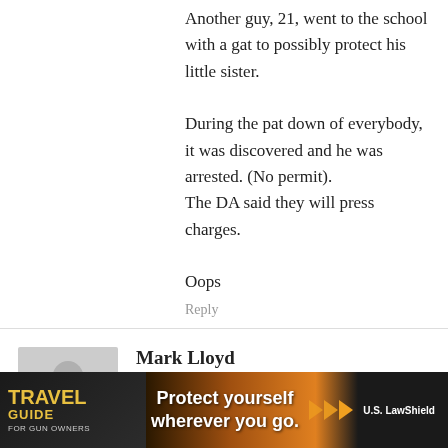Another guy, 21, went to the school with a gat to possibly protect his little sister.

During the pat down of everybody, it was discovered and he was arrested. (No permit).
The DA said they will press charges.

Oops
Reply
Mark Lloyd
June 11, 2014 At 15:10
There are a few things that strike me about all this. For one, it's not about guns. It's high profile reporting, and easy availability of weapons. When I say easy availability, I don't mean that someone can [rking] lot at a [full] of dirt
[Figure (photo): Travel Guide for Gun Owners advertisement banner with text 'Protect yourself wherever you go.' and arrow icons]